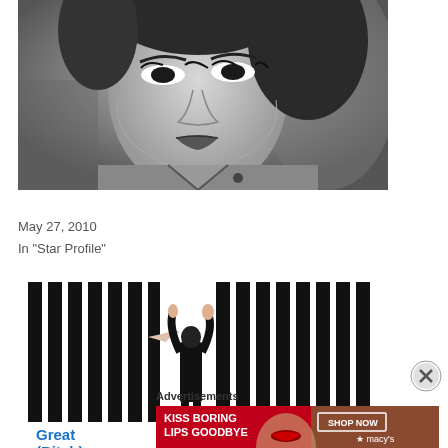[Figure (photo): Black and white glamour portrait photo of a woman with dramatic eye makeup and dark hair, wearing a button-up shirt]
Kate the Great (Bitch)
May 27, 2010
In "Star Profile"
[Figure (photo): Person in black outfit with arms raised, standing among tall vertical black bars/pillars on white background, a hand reaches toward them from the left]
[Figure (other): Close (X) button circle]
Advertisements
[Figure (photo): Macy's advertisement: red background with white text 'KISS BORING LIPS GOODBYE', woman with red lips, 'SHOP NOW' button, Macy's star logo]